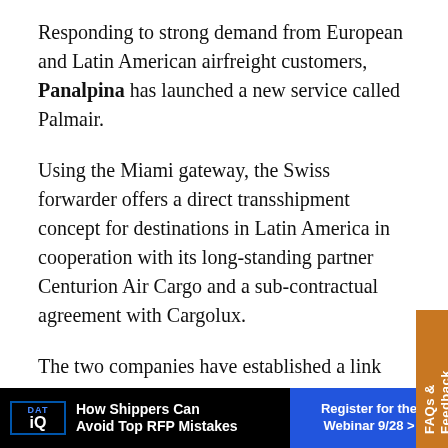Responding to strong demand from European and Latin American airfreight customers, Panalpina has launched a new service called Palmair.
Using the Miami gateway, the Swiss forwarder offers a direct transshipment concept for destinations in Latin America in cooperation with its long-standing partner Centurion Air Cargo and a sub-contractual agreement with Cargolux.
The two companies have established a link between Latin American connections, their European road feeder network, and Cargolux’s Luxembourg hub. This setup gives Panalpina total control of the cargo flow from origin to destination. The service covers Bogotá, Medellin, Barranquilla (Columbia), Caracas
[Figure (other): Orange sidebar tab with vertical text reading FAQs & Feedback]
[Figure (other): Advertisement banner: DAT iQ - How Shippers Can Avoid Top RFP Mistakes - Register for the Webinar 9/28]